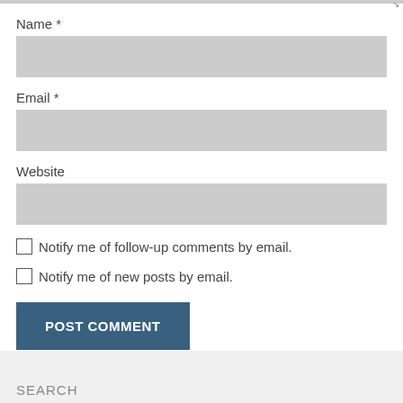Name *
[Figure (screenshot): Empty text input field for Name]
Email *
[Figure (screenshot): Empty text input field for Email]
Website
[Figure (screenshot): Empty text input field for Website]
Notify me of follow-up comments by email.
Notify me of new posts by email.
POST COMMENT
SEARCH